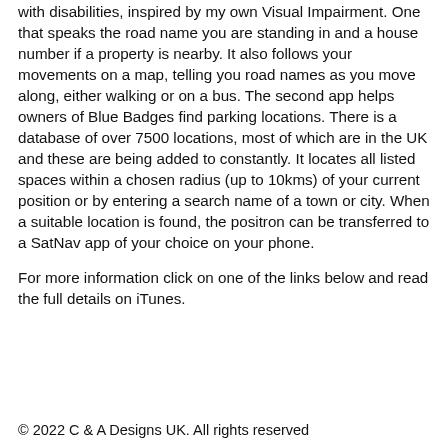with disabilities, inspired by my own Visual Impairment. One that speaks the road name you are standing in and a house number if a property is nearby. It also follows your movements on a map, telling you road names as you move along, either walking or on a bus. The second app helps owners of Blue Badges find parking locations. There is a database of over 7500 locations, most of which are in the UK and these are being added to constantly. It locates all listed spaces within a chosen radius (up to 10kms) of your current position or by entering a search name of a town or city. When a suitable location is found, the positron can be transferred to a SatNav app of your choice on your phone.
For more information click on one of the links below and read the full details on iTunes.
© 2022 C & A Designs UK. All rights reserved